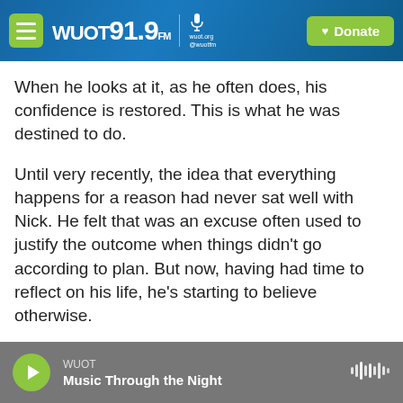WUOT 91.9 FM | Donate
When he looks at it, as he often does, his confidence is restored. This is what he was destined to do.
Until very recently, the idea that everything happens for a reason had never sat well with Nick. He felt that was an excuse often used to justify the outcome when things didn't go according to plan. But now, having had time to reflect on his life, he's starting to believe otherwise.
“There’s so many things falling into place with Talons Reach Foundation and with my move and
WUOT | Music Through the Night